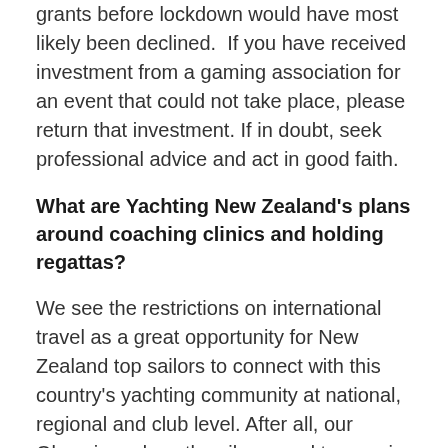grants before lockdown would have most likely been declined.  If you have received investment from a gaming association for an event that could not take place, please return that investment. If in doubt, seek professional advice and act in good faith.
What are Yachting New Zealand's plans around coaching clinics and holding regattas?
We see the restrictions on international travel as a great opportunity for New Zealand top sailors to connect with this country's yachting community at national, regional and club level. After all, our Olympic and youth sailors need to remain race sharp, which will mean competing in more class championships. It will also mean a number of this country's top sailors Champions and Championi